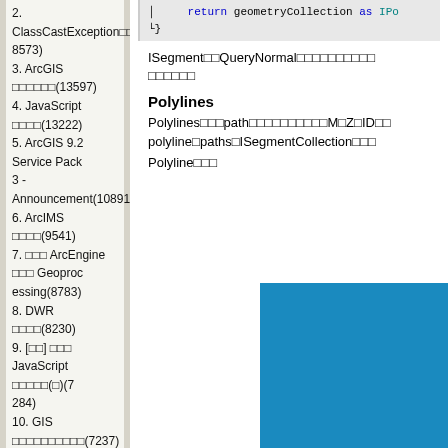2. ClassCastException□□□□(28573)
3. ArcGIS □□□□□□(13597)
4. JavaScript □□□□(13222)
5. ArcGIS 9.2 Service Pack 3 - Announcement(10891)
6. ArcIMS □□□□(9541)
7. □□□ ArcEngine □□□ Geoprocessing(8783)
8. DWR □□□□(8230)
9. [□□] □□□ JavaScript □□□□□(□)(7284)
10. GIS □□□□□□□□□□(7237)
11. ArcGIS Server □□□□□□□--Web ADF □□(7007)
12. [□□] □□□ JavaScript □□□□□(□)(6496)
13. ArcGIS Server □□□□□□□--□□□ □□□(6436)
14. ArcIMS □□□--.NET Link □□□□(6272)
15. Hibernate□□□□--□□□□(6091)
□□□□□
1. wallop □orkut □□□(143)
2. ArcIMS □□□--.NET Link □□□□(70)
3. □Linux□□□ JDK□□□□□□(27)
return geometryCollection as IPo
}
ISegment□□QueryNormal□□□□□□□□□□ □□□□□□
Polylines
Polylines□□□path□□□□□□□□□□M□Z□ID□□ polyline□paths□ISegmentCollection□□□
Polyline□□□
[Figure (screenshot): Blue image area representing a code/diagram screenshot for Polyline]